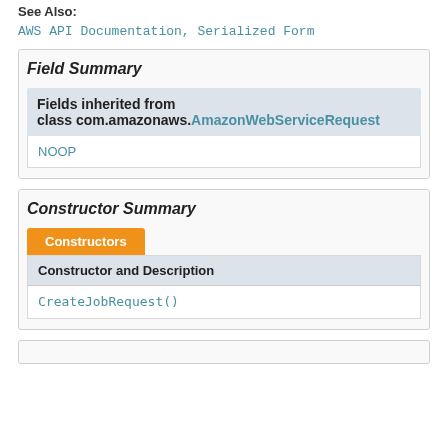See Also:
AWS API Documentation, Serialized Form
Field Summary
| Fields inherited from class com.amazonaws.AmazonWebServiceRequest |
| --- |
| NOOP |
Constructor Summary
| Constructor and Description |
| --- |
| CreateJobRequest() |